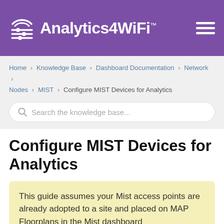Analytics4WiFi™
Home > Knowledge Base > Dashboard Documentation > Network > Nodes > MIST > Configure MIST Devices for Analytics
Search the knowledge base...
Configure MIST Devices for Analytics
This guide assumes your Mist access points are already adopted to a site and placed on MAP Floorplans in the Mist dashboard